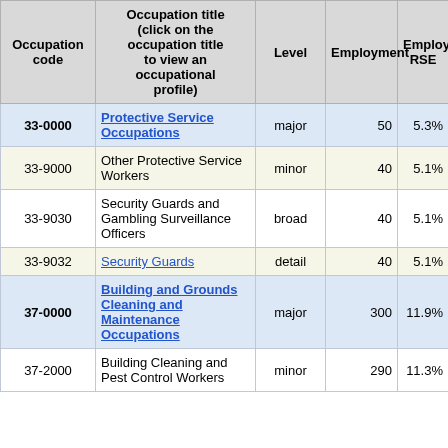| Occupation code | Occupation title (click on the occupation title to view an occupational profile) | Level | Employment | Employment RSE |
| --- | --- | --- | --- | --- |
| 33-0000 | Protective Service Occupations | major | 50 | 5.3% |
| 33-9000 | Other Protective Service Workers | minor | 40 | 5.1% |
| 33-9030 | Security Guards and Gambling Surveillance Officers | broad | 40 | 5.1% |
| 33-9032 | Security Guards | detail | 40 | 5.1% |
| 37-0000 | Building and Grounds Cleaning and Maintenance Occupations | major | 300 | 11.9% |
| 37-2000 | Building Cleaning and Pest Control Workers | minor | 290 | 11.3% |